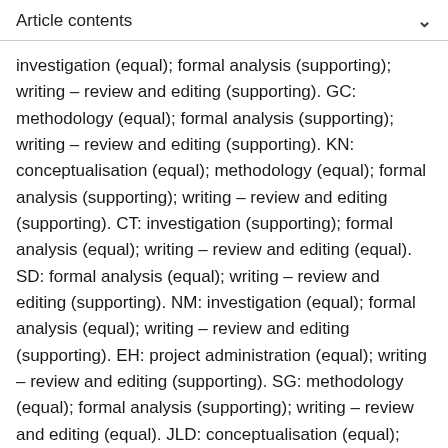Article contents
investigation (equal); formal analysis (supporting); writing – review and editing (supporting). GC: methodology (equal); formal analysis (supporting); writing – review and editing (supporting). KN: conceptualisation (equal); methodology (equal); formal analysis (supporting); writing – review and editing (supporting). CT: investigation (supporting); formal analysis (equal); writing – review and editing (equal). SD: formal analysis (equal); writing – review and editing (supporting). NM: investigation (equal); formal analysis (equal); writing – review and editing (supporting). EH: project administration (equal); writing – review and editing (supporting). SG: methodology (equal); formal analysis (supporting); writing – review and editing (equal). JLD: conceptualisation (equal); methodology (equal); writing – review and editing (equal).